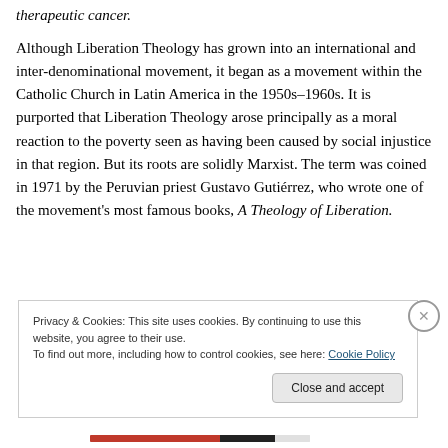therapeutic cancer.
Although Liberation Theology has grown into an international and inter-denominational movement, it began as a movement within the Catholic Church in Latin America in the 1950s–1960s. It is purported that Liberation Theology arose principally as a moral reaction to the poverty seen as having been caused by social injustice in that region. But its roots are solidly Marxist. The term was coined in 1971 by the Peruvian priest Gustavo Gutiérrez, who wrote one of the movement's most famous books, A Theology of Liberation.
Privacy & Cookies: This site uses cookies. By continuing to use this website, you agree to their use.
To find out more, including how to control cookies, see here: Cookie Policy
Close and accept